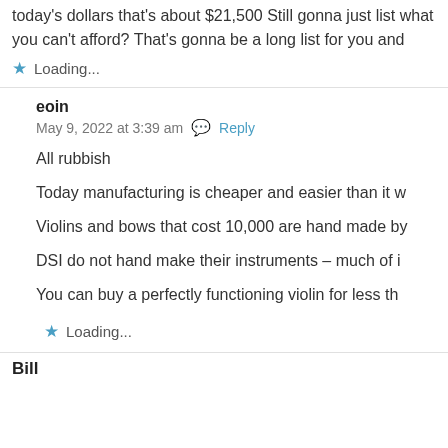today's dollars that's about $21,500 Still gonna just list what you can't afford? That's gonna be a long list for you and
Loading...
eoin
May 9, 2022 at 3:39 am  Reply
All rubbish
Today manufacturing is cheaper and easier than it w
Violins and bows that cost 10,000 are hand made by
DSI do not hand make their instruments – much of i
You can buy a perfectly functioning violin for less th
Loading...
Bill